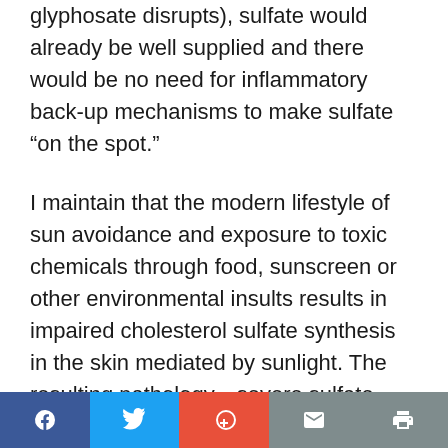glyphosate disrupts), sulfate would already be well supplied and there would be no need for inflammatory back-up mechanisms to make sulfate “on the spot.”
I maintain that the modern lifestyle of sun avoidance and exposure to toxic chemicals through food, sunscreen or other environmental insults results in impaired cholesterol sulfate synthesis in the skin mediated by sunlight. The resulting pathology—severe sulfate deficiency—necessitates an alternative last-ditch mechanism for cholesterol sulfate synthesis. Thus, cholesterol gets stored in the artery wall to
Facebook | Twitter | + | Mail | Print